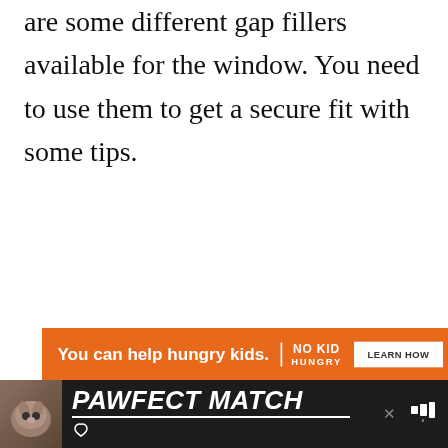are some different gap fillers available for the window. You need to use them to get a secure fit with some tips.
[Figure (screenshot): Orange advertisement banner for No Kid Hungry charity with text 'You can help hungry kids.' and a 'LEARN HOW' button, followed by a large white/light grey empty ad content area with social media sidebar buttons (heart icon, count '2', share icon)]
[Figure (screenshot): Dark bottom advertisement bar showing a cat photo on the left and bold italic white text 'PAWFECT MATCH' on dark background with close button and branding icon]